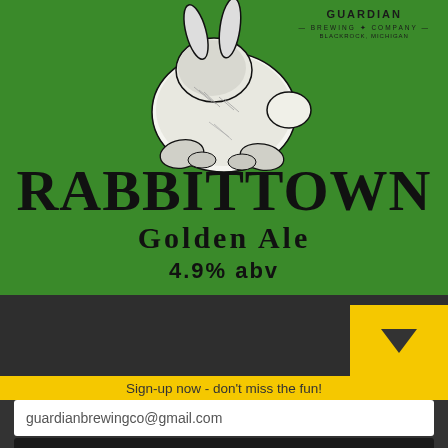[Figure (illustration): Beer label with green background showing a rabbit illustration (crouching rabbit viewed from behind) and brewery branding text. Label reads RABBITTOWN Golden Ale 4.9% ABV with Guardian Brewing Company header.]
Sign-up now - don't miss the fun!
guardianbrewingco@gmail.com
Subscribe